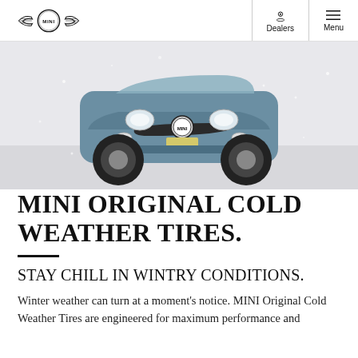MINI | Dealers | Menu
[Figure (photo): Front view of a blue MINI Countryman driving in snowy winter conditions, headlights on, snow visible on the ground and in the air.]
MINI ORIGINAL COLD WEATHER TIRES.
STAY CHILL IN WINTRY CONDITIONS.
Winter weather can turn at a moment's notice. MINI Original Cold Weather Tires are engineered for maximum performance and